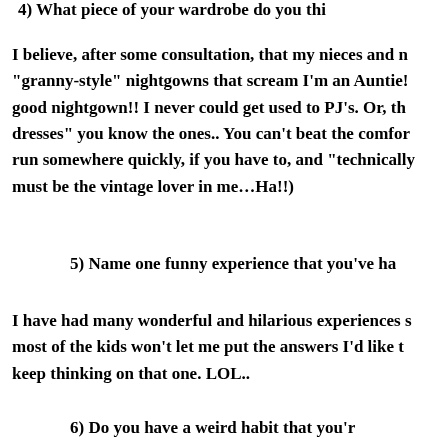4)  What piece of your wardrobe do you thi…
I believe, after some consultation, that my nieces and n… "granny-style" nightgowns that scream I'm an Auntie!… good nightgown!! I never could get used to PJ's. Or, th… dresses" you know the ones.. You can't beat the comfor… run somewhere quickly, if you have to, and "technically… must be the vintage lover in me…Ha!!)
5)  Name one funny experience that you've ha…
I have had many wonderful and hilarious experiences s… most of the kids won't let me put the answers I'd like t… keep thinking on that one. LOL..
6)  Do you have a weird habit that you'r…